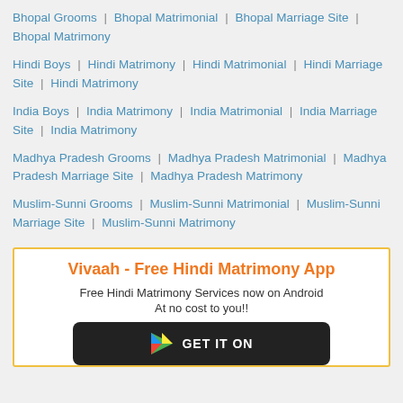Bhopal Grooms | Bhopal Matrimonial | Bhopal Marriage Site | Bhopal Matrimony
Hindi Boys | Hindi Matrimony | Hindi Matrimonial | Hindi Marriage Site | Hindi Matrimony
India Boys | India Matrimony | India Matrimonial | India Marriage Site | India Matrimony
Madhya Pradesh Grooms | Madhya Pradesh Matrimonial | Madhya Pradesh Marriage Site | Madhya Pradesh Matrimony
Muslim-Sunni Grooms | Muslim-Sunni Matrimonial | Muslim-Sunni Marriage Site | Muslim-Sunni Matrimony
Vivaah - Free Hindi Matrimony App
Free Hindi Matrimony Services now on Android
At no cost to you!!
[Figure (other): Google Play Store button - GET IT ON Google Play]